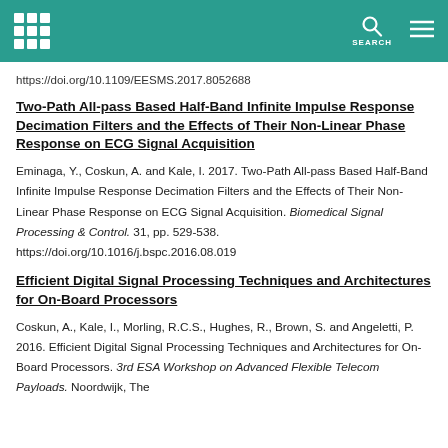SEARCH
https://doi.org/10.1109/EESMS.2017.8052688
Two-Path All-pass Based Half-Band Infinite Impulse Response Decimation Filters and the Effects of Their Non-Linear Phase Response on ECG Signal Acquisition
Eminaga, Y., Coskun, A. and Kale, I. 2017. Two-Path All-pass Based Half-Band Infinite Impulse Response Decimation Filters and the Effects of Their Non-Linear Phase Response on ECG Signal Acquisition. Biomedical Signal Processing & Control. 31, pp. 529-538. https://doi.org/10.1016/j.bspc.2016.08.019
Efficient Digital Signal Processing Techniques and Architectures for On-Board Processors
Coskun, A., Kale, I., Morling, R.C.S., Hughes, R., Brown, S. and Angeletti, P. 2016. Efficient Digital Signal Processing Techniques and Architectures for On-Board Processors. 3rd ESA Workshop on Advanced Flexible Telecom Payloads. Noordwijk, The